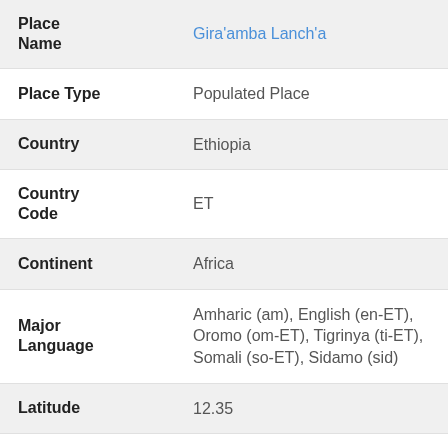| Field | Value |
| --- | --- |
| Place Name | Gira'amba Lanch'a |
| Place Type | Populated Place |
| Country | Ethiopia |
| Country Code | ET |
| Continent | Africa |
| Major Language | Amharic (am), English (en-ET), Oromo (om-ET), Tigrinya (ti-ET), Somali (so-ET), Sidamo (sid) |
| Latitude | 12.35 |
| Longitude | 39.53333 |
| DMS Lat | 12° 21' 00.00" N |